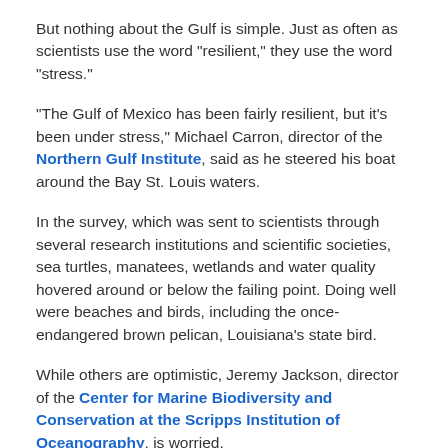But nothing about the Gulf is simple. Just as often as scientists use the word "resilient," they use the word "stress."
"The Gulf of Mexico has been fairly resilient, but it's been under stress," Michael Carron, director of the Northern Gulf Institute, said as he steered his boat around the Bay St. Louis waters.
In the survey, which was sent to scientists through several research institutions and scientific societies, sea turtles, manatees, wetlands and water quality hovered around or below the failing point. Doing well were beaches and birds, including the once-endangered brown pelican, Louisiana's state bird.
While others are optimistic, Jeremy Jackson, director of the Center for Marine Biodiversity and Conservation at the Scripps Institution of Oceanography, is worried.
"You have an ecosystem that's already severely stressed, then you add this major disturbance," he said. "We're going to pay for our sins double-time because we've neglected the environment of the northern Gulf so badly for so long."